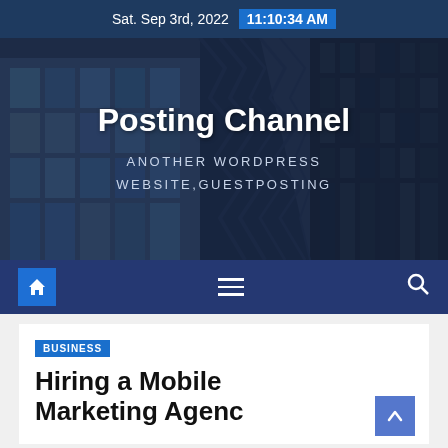Sat. Sep 3rd, 2022  11:10:34 AM
[Figure (screenshot): WordPress website hero banner with city buildings background showing 'Posting Channel' title and 'ANOTHER WORDPRESS WEBSITE,GUESTPOSTING' subtitle]
Posting Channel
ANOTHER WORDPRESS WEBSITE,GUESTPOSTING
[Figure (other): Navigation bar with home icon button, hamburger menu icon, and search icon on dark blue background]
BUSINESS
Hiring a Mobile Marketing Agency